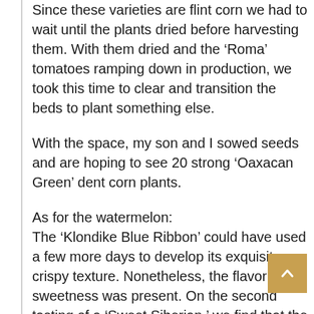Since these varieties are flint corn we had to wait until the plants dried before harvesting them. With them dried and the ‘Roma’ tomatoes ramping down in production, we took this time to clear and transition the beds to plant something else.
With the space, my son and I sowed seeds and are hoping to see 20 strong ‘Oaxacan Green’ dent corn plants.
As for the watermelon:
The ‘Klondike Blue Ribbon’ could have used a few more days to develop its exquisite crispy texture. Nonetheless, the flavor and sweetness was present. On the second tasting of a ‘Sweet Siberian,’ we find that the flesh is rather smooth and just sweet. Once again, the typical watermelon flavor is either non-existent or rather subtle.